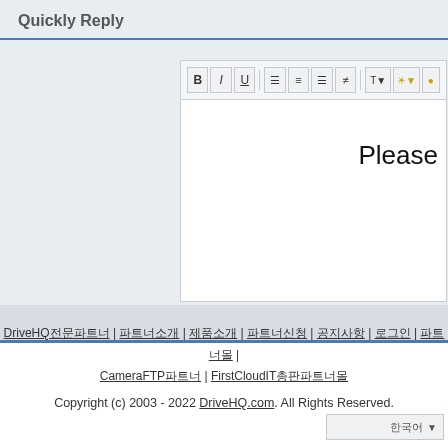Quickly Reply
[Figure (screenshot): Rich text editor with toolbar (Bold, Italic, Underline, alignment buttons, font size, color) and editor area showing partial word 'Please']
DriveHQ전문파트너 | 파트너소개 | 제품소개 | 파트너신청 | 공지사항 | 로그인 | 파트너몰 | CameraFTP파트너 | FirstCloudIT총판파트너몰 | Copyright (c) 2003 - 2022 DriveHQ.com. All Rights Reserved.